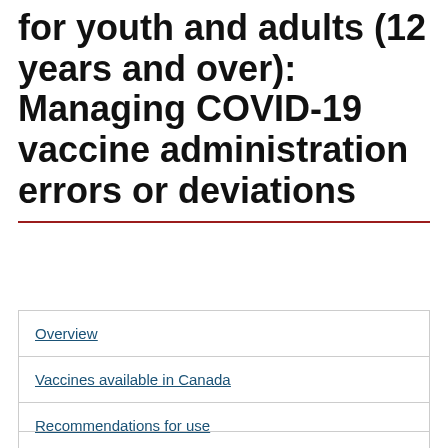for youth and adults (12 years and over): Managing COVID-19 vaccine administration errors or deviations
Overview
Vaccines available in Canada
Recommendations for use
Managing COVID-19 vaccine administration errors or deviations